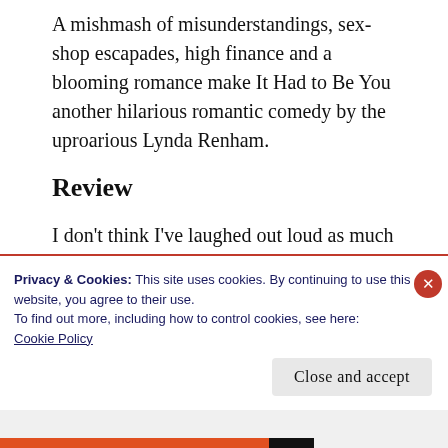A mishmash of misunderstandings, sex-shop escapades, high finance and a blooming romance make It Had to Be You another hilarious romantic comedy by the uproarious Lynda Renham.
Review
I don't think I've laughed out loud as much reading a book. My family think I've gone mad. If you like Sophie Kinsella, Millie Johnson books, this is better with some hilarious moments. If you need a lift for
Privacy & Cookies: This site uses cookies. By continuing to use this website, you agree to their use.
To find out more, including how to control cookies, see here:
Cookie Policy
Close and accept